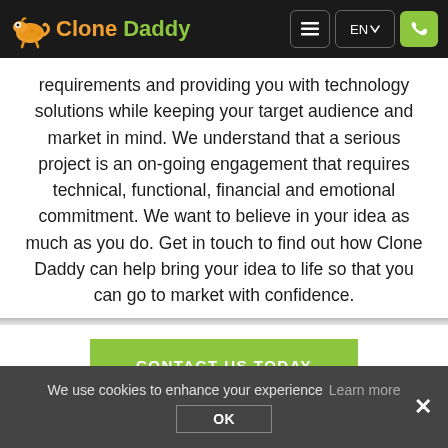Clone Daddy — EN navigation header
requirements and providing you with technology solutions while keeping your target audience and market in mind. We understand that a serious project is an on-going engagement that requires technical, functional, financial and emotional commitment. We want to believe in your idea as much as you do. Get in touch to find out how Clone Daddy can help bring your idea to life so that you can go to market with confidence.
CONTACT US TODAY
LEGAL INFORMATION
We use cookies to enhance your experience Learn more OK